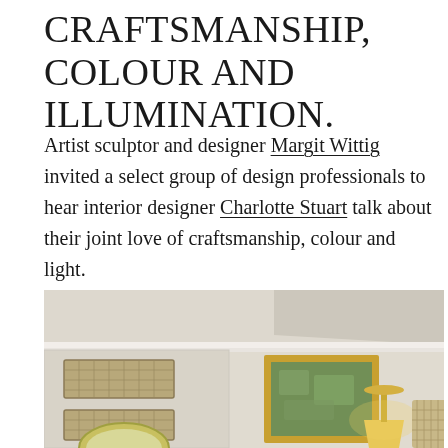CRAFTSMANSHIP, COLOUR AND ILLUMINATION.
Artist sculptor and designer Margit Wittig invited a select group of design professionals to hear interior designer Charlotte Stuart talk about their joint love of craftsmanship, colour and light.
[Figure (photo): Interior room photograph showing cream-coloured walls with white cornice moulding, a decorative window with woven blind on the left, a gold-framed green painting on the wall, a warm-toned table lamp, and a woven lamp shade or basket on the right side.]